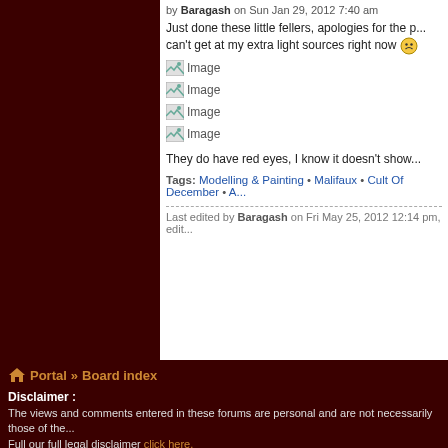by Baragash on Sun Jan 29, 2012 7:40 am
Just done these little fellers, apologies for the p... can't get at my extra light sources right now :)
[Figure (photo): Broken image placeholder labeled 'Image']
[Figure (photo): Broken image placeholder labeled 'Image']
[Figure (photo): Broken image placeholder labeled 'Image']
[Figure (photo): Broken image placeholder labeled 'Image']
They do have red eyes, I know it doesn't show...
Tags: Modelling & Painting • Malifaux • Cult Of December • A...
Last edited by Baragash on Fri May 25, 2012 12:14 pm, edit...
Portal » Board index
Disclaimer : The views and comments entered in these forums are personal and are not necessarily those of the... Full our full legal disclaimer click here.